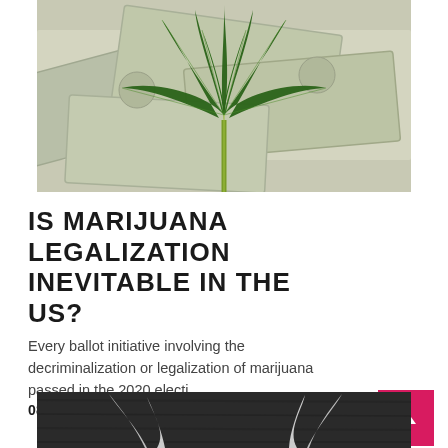[Figure (photo): A cannabis/marijuana leaf placed on top of US dollar bills, viewed from above. The leaf is dark green with serrated edges against a background of scattered hundred-dollar bills.]
IS MARIJUANA LEGALIZATION INEVITABLE IN THE US?
Every ballot initiative involving the decriminalization or legalization of marijuana passed in the 2020 electi...
08 April, 2021  •  No comment
[Figure (photo): Partial bottom image showing what appears to be marijuana/cannabis related imagery on a dark wooden surface, cropped at the bottom of the page.]